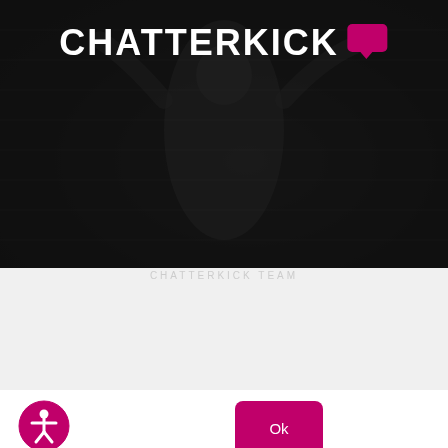[Figure (screenshot): Chatterkick website hero image showing a dark background with a person celebrating, arms raised, in front of a brick wall. The Chatterkick logo with a pink speech bubble icon is displayed prominently at the top.]
CHATTERKICK TEAM
We use cookies to ensure that we give you the best experience on our website. If you continue to use this site we will assume that you are happy with it.
[Figure (illustration): Accessibility icon: a pink circle with a white person figure (universal accessibility symbol)]
Ok